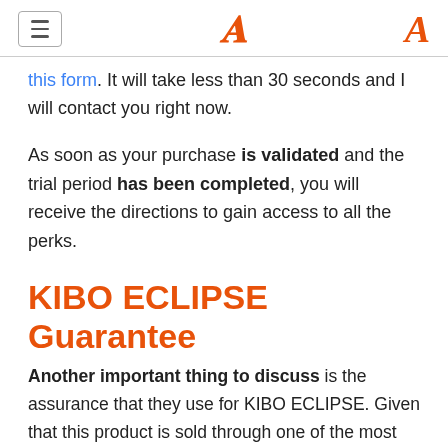[hamburger menu] [logo A]
this form. It will take less than 30 seconds and I will contact you right now.
As soon as your purchase is validated and the trial period has been completed, you will receive the directions to gain access to all the perks.
KIBO ECLIPSE Guarantee
Another important thing to discuss is the assurance that they use for KIBO ECLIPSE. Given that this product is sold through one of the most trusted networks, ClickBank, you have a 30-day warranty. This suggests that there is ZERO threat for you! Their very words: